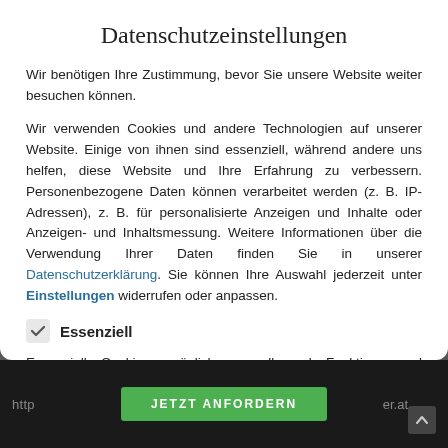Datenschutzeinstellungen
Wir benötigen Ihre Zustimmung, bevor Sie unsere Website weiter besuchen können.
Wir verwenden Cookies und andere Technologien auf unserer Website. Einige von ihnen sind essenziell, während andere uns helfen, diese Website und Ihre Erfahrung zu verbessern. Personenbezogene Daten können verarbeitet werden (z. B. IP-Adressen), z. B. für personalisierte Anzeigen und Inhalte oder Anzeigen- und Inhaltsmessung. Weitere Informationen über die Verwendung Ihrer Daten finden Sie in unserer Datenschutzerklärung. Sie können Ihre Auswahl jederzeit unter Einstellungen widerrufen oder anpassen.
Essenziell
Essenzielle Cookies ermöglichen grundlegende Funktionen und sind für die einwandfreie Funktion der Website erforderlich.
[Figure (screenshot): Dark background bottom bar with URL fragments 'http...' and '...er.at', a green button labeled 'JETZT ANFORDERN', and a scroll-to-top arrow button]